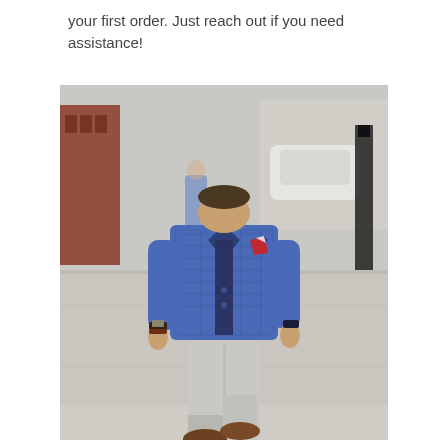your first order. Just reach out if you need assistance!
[Figure (photo): A man walking on a sidewalk wearing a blue plaid blazer over a dark navy shirt, light grey pants, and brown suede loafers. He has a red and white pocket square. The background shows a blurred urban street scene with parked cars and a pedestrian.]